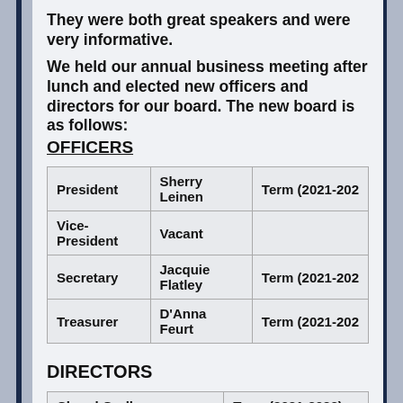They were both great speakers and were very informative.
We held our annual business meeting after lunch and elected new officers and directors for our board.  The new board is as follows:
OFFICERS
| Position | Name | Term |
| --- | --- | --- |
| President | Sherry Leinen | Term (2021-2023) |
| Vice-President | Vacant |  |
| Secretary | Jacquie Flatley | Term (2021-2023) |
| Treasurer | D'Anna Feurt | Term (2021-2023) |
DIRECTORS
| Name | Term |
| --- | --- |
| Cheryl Godley | Term (2021-2023) |
| Chris Johnson | Term (2021-2023) |